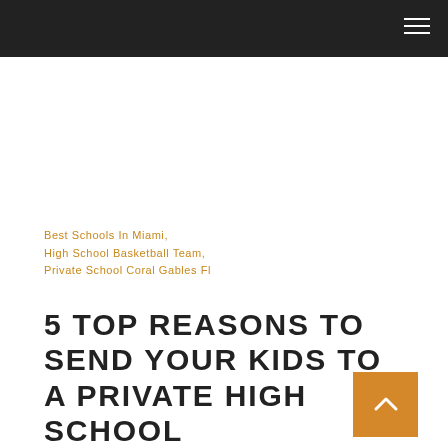Best Schools In Miami, High School Basketball Team, Private School Coral Gables Fl
5 TOP REASONS TO SEND YOUR KIDS TO A PRIVATE HIGH SCHOOL
Library / September 12, 2016